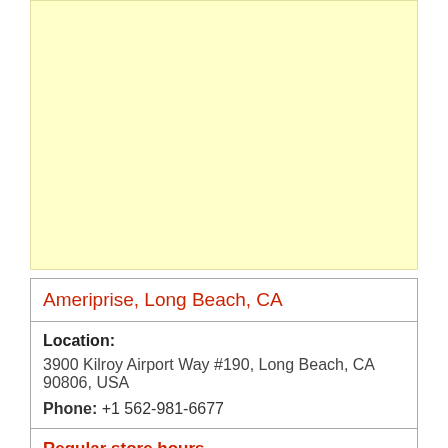[Figure (other): Yellow advertisement placeholder block]
Ameriprise, Long Beach, CA
Location:
3900 Kilroy Airport Way #190, Long Beach, CA 90806, USA
Phone: +1 562-981-6677
Regular store hours
Monday – Friday